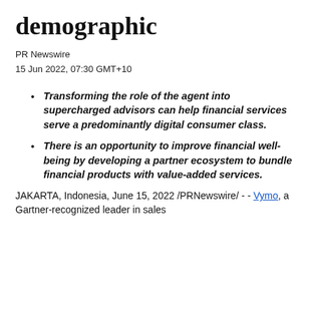demographic
PR Newswire
15 Jun 2022, 07:30 GMT+10
Transforming the role of the agent into supercharged advisors can help financial services serve a predominantly digital consumer class.
There is an opportunity to improve financial well-being by developing a partner ecosystem to bundle financial products with value-added services.
JAKARTA, Indonesia, June 15, 2022 /PRNewswire/ -- Vymo, a Gartner-recognized leader in sales